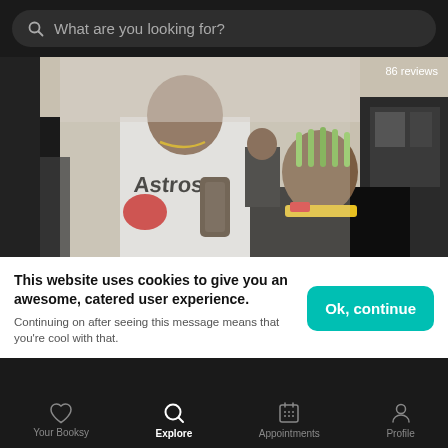What are you looking for?
[Figure (photo): Barber wearing Astros jersey with red glove posing with client who has braids sitting in barber chair, barbershop setting. Badge showing '86 reviews' in top right corner.]
This website uses cookies to give you an awesome, catered user experience.
Continuing on after seeing this message means that you're cool with that.
Ok, continue
Your Booksy  Explore  Appointments  Profile